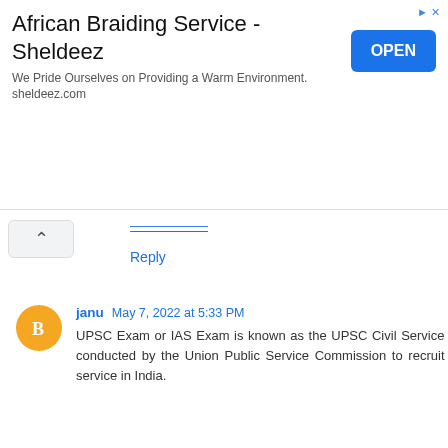[Figure (screenshot): Advertisement banner for African Braiding Service - Sheldeez with an OPEN button]
Reply
janu  May 7, 2022 at 5:33 PM
UPSC Exam or IAS Exam is known as the UPSC Civil Service conducted by the Union Public Service Commission to recruit service in India.